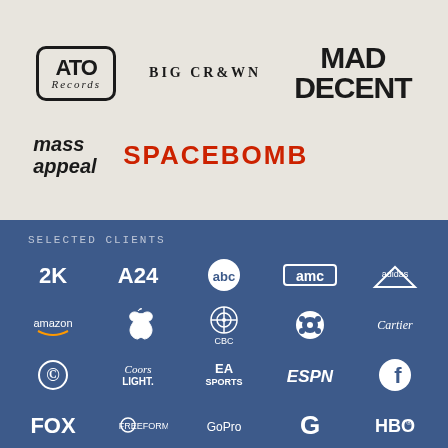[Figure (logo): ATO Records logo - rectangular border with distressed text]
[Figure (logo): Big Crown logo - serif uppercase spaced lettering]
[Figure (logo): Mad Decent logo - bold black uppercase two-line text]
[Figure (logo): mass appeal logo - bold italic lowercase]
[Figure (logo): SPACEBOMB logo - bold red uppercase]
SELECTED CLIENTS
[Figure (logo): Selected client logos grid: 2K, A24, abc, AMC, adidas, amazon, Apple, CBC, CBS, Cartier, Comedy Central, Coors Light, EA Sports, ESPN, Facebook, FOX, Freeform, GoPro, Google, HBO, and more]